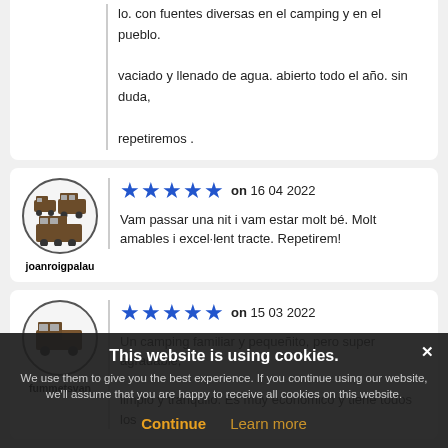lo. con fuentes diversas en el camping y en el pueblo. vaciado y llenado de agua. abierto todo el año. sin duda, repetiremos .
★★★★★ on 16 04 2022
joanroigpalau
Vam passar una nit i vam estar molt bé. Molt amables i excel·lent tracte. Repetirem!
★★★★★ on 15 03 2022
fummetsvan
Un camping familiar y pequeñito, pero super agradable, limpio y tranquilo. Es muy económico y tiene todos los servicios disponibles. Sin duda y todas las
This website is using cookies. We use them to give you the best experience. If you continue using our website, we'll assume that you are happy to receive all cookies on this website. Continue | Learn more